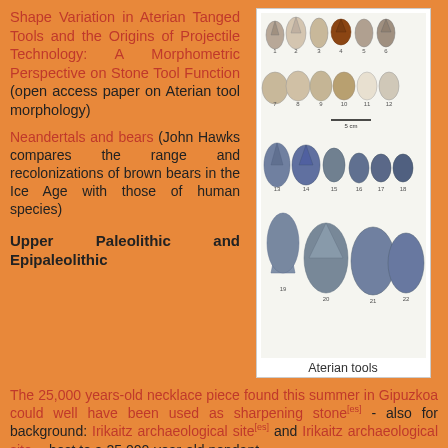Shape Variation in Aterian Tanged Tools and the Origins of Projectile Technology: A Morphometric Perspective on Stone Tool Function (open access paper on Aterian tool morphology)
Neandertals and bears (John Hawks compares the range and recolonizations of brown bears in the Ice Age with those of human species)
[Figure (photo): Photograph of Aterian stone tools arranged in four rows showing various tanged tools numbered 1-22, with a scale bar. Caption reads 'Aterian tools'.]
Upper Paleolithic and Epipaleolithic
The 25,000 years-old necklace piece found this summer in Gipuzkoa could well have been used as sharpening stone[es] - also for background: Irikaitz archaeological site[es] and Irikaitz archaeological site -- host to a 25,000-year-old pendant